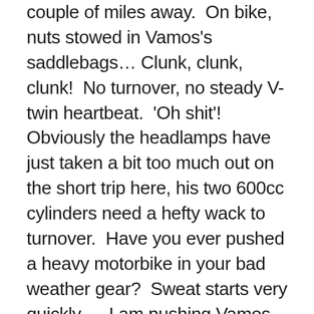couple of miles away.  On bike, nuts stowed in Vamos's saddlebags… Clunk, clunk, clunk!  No turnover, no steady V-twin heartbeat.  'Oh shit'!  Obviously the headlamps have just taken a bit too much out on the short trip here, his two 600cc cylinders need a hefty wack to turnover.  Have you ever pushed a heavy motorbike in your bad weather gear?  Sweat starts very quickly…  I am pushing Vamos up to the top of the sloping car park in the hopes that we can bump start, I have to stop twice on the push.  HERE GOES!  Going down in probably third, out clutch… Locking wheels, no fire in our belly.  Try again as we near the bottom in fourth…   No joy.  'Oh Shit!'  Into neutral, clutch in and again try the de-